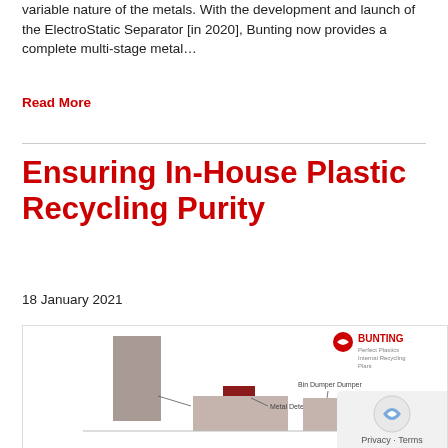variable nature of the metals. With the development and launch of the ElectroStatic Separator [in 2020], Bunting now provides a complete multi-stage metal…
Read More
Ensuring In-House Plastic Recycling Purity
18 January 2021
[Figure (engineering-diagram): Bunting Perfect Plastics Internal Recycling Plant schematic diagram showing equipment stages including Granulator, Metal Detector, and Bin Dumper Dumper, with bar-style layout indicating process flow.]